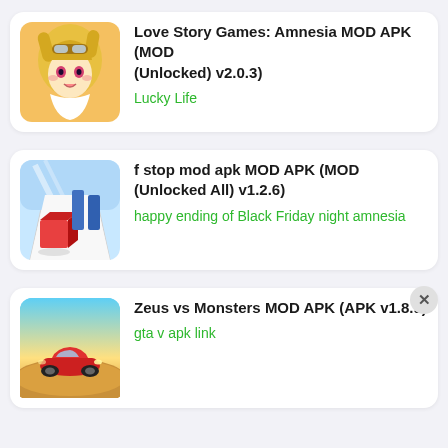[Figure (illustration): Anime character with blonde hair and pink eyes, game icon]
Love Story Games: Amnesia MOD APK (MOD (Unlocked) v2.0.3)
Lucky Life
[Figure (screenshot): F-stop game icon showing a red cube and blue pillars on a white ramp]
f stop mod apk MOD APK (MOD (Unlocked All) v1.2.6)
happy ending of Black Friday night amnesia
[Figure (illustration): Red sports car driving on desert road game icon]
Zeus vs Monsters MOD APK (APK v1.8.9)
gta v apk link